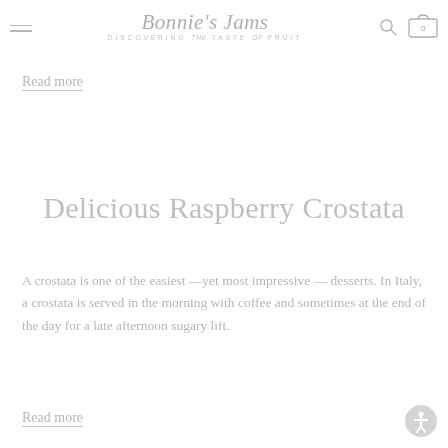Bonnie's Jams — DISCOVERING the TASTE of FRUIT
Read more
Delicious Raspberry Crostata
A crostata is one of the easiest —yet most impressive — desserts. In Italy, a crostata is served in the morning with coffee and sometimes at the end of the day for a late afternoon sugary lift.
Read more